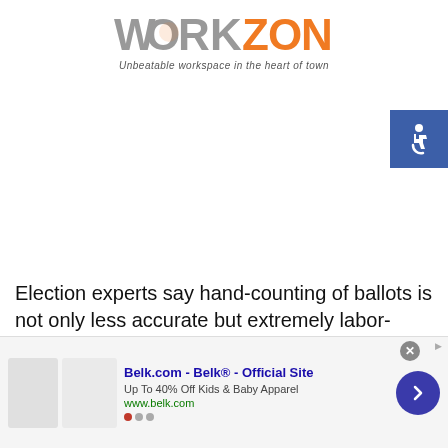[Figure (logo): WorkZones logo with tagline 'Unbeatable workspace in the heart of town'. WORK in grey, ZONES in orange.]
[Figure (illustration): Accessibility icon (wheelchair symbol) in white on a blue square background, positioned top right.]
Election experts say hand-counting of ballots is not only less accurate but extremely labor-intensive, potentially delaying results by weeks if not months in larger counties. They also say it's unnecessary because voting equipment is tested before and after elections to ensure ballots are read and tallied correctly.
[Figure (screenshot): Advertisement banner for Belk.com - Belk Official Site. Shows kids clothing images, text: 'Up To 40% Off Kids & Baby Apparel', URL: www.belk.com. Includes close button, navigation arrow, and ad indicator dots.]